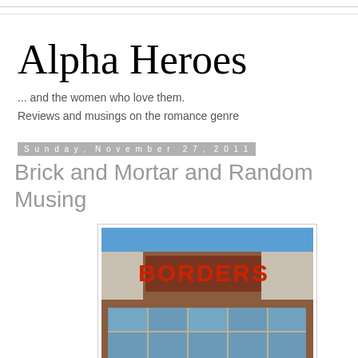Alpha Heroes
... and the women who love them.
Reviews and musings on the romance genre
Sunday, November 27, 2011
Brick and Mortar and Random Musing
[Figure (photo): Exterior photo of a Borders bookstore building showing brick facade, large windows, and red BORDERS sign against a blue sky.]